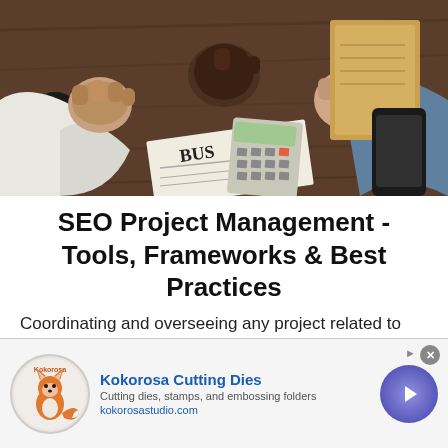[Figure (photo): Aerial view of multiple people doing a fist bump over a wooden desk with a calculator, notebook, phone, coffee cup, and business newspaper]
SEO Project Management - Tools, Frameworks & Best Practices
Coordinating and overseeing any project related to Search engine optimization is what entails the framework of SEO project management. Search Engine Optimization is a tangled web but with the right
[Figure (screenshot): Advertisement banner for Kokorosa Cutting Dies showing logo with fox mascot, text 'Kokorosa Cutting Dies', 'Cutting dies, stamps, and embossing folders', 'kokorosastudio.com', and a purple arrow button]